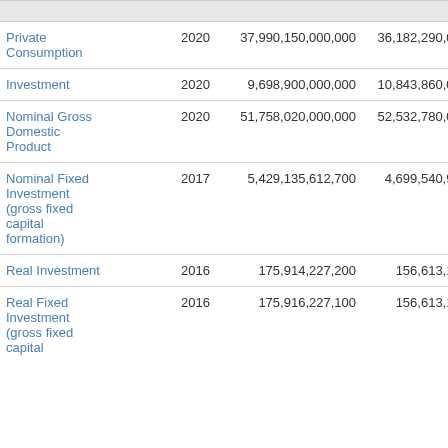| Indicator | Year | Value 1 | Value 2 |
| --- | --- | --- | --- |
| Private Consumption | 2020 | 37,990,150,000,000 | 36,182,290,000,000 |
| Investment | 2020 | 9,698,900,000,000 | 10,843,860,000,000 |
| Nominal Gross Domestic Product | 2020 | 51,758,020,000,000 | 52,532,780,000,000 |
| Nominal Fixed Investment (gross fixed capital formation) | 2017 | 5,429,135,612,700 | 4,699,540,915,300 |
| Real Investment | 2016 | 175,914,227,200 | 156,613,163,900 |
| Real Fixed Investment (gross fixed capital formation) | 2016 | 175,916,227,100 | 156,613,163,900 |